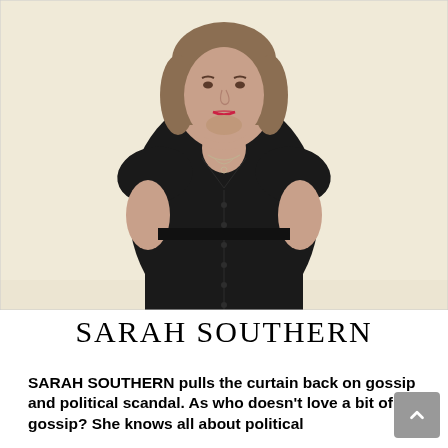[Figure (photo): A woman with short chin-length hair wearing a black button-front dress with short cap sleeves, hands behind her back, looking upward against a cream/off-white background. She wears a thin silver necklace.]
SARAH SOUTHERN
SARAH SOUTHERN pulls the curtain back on gossip and political scandal. As who doesn't love a bit of gossip? She knows all about political